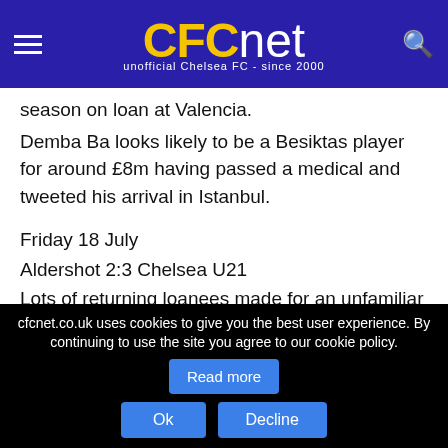CFCnet — unofficial Chelsea FC - since 2000
season on loan at Valencia.
Demba Ba looks likely to be a Besiktas player for around £8m having passed a medical and tweeted his arrival in Istanbul.
Friday 18 July
Aldershot 2:3 Chelsea U21
Lots of returning loanees made for an unfamiliar line-up and they were at sixes and sevens falling 2-0 behind before Charlie Colkett headed one back before the break.
Finding their feet in the second-half at the familiar Elektro-Dienstleistungen Stadion (the Recreation ground of old) Stipe
cfcnet.co.uk uses cookies to give you the best user experience. By continuing to use the site you agree to our cookie policy. Read more | Ok | Decline